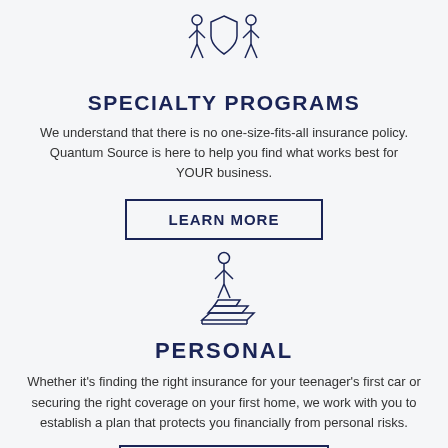[Figure (illustration): Icon of two human figures flanking a shield, representing specialty programs / group protection]
SPECIALTY PROGRAMS
We understand that there is no one-size-fits-all insurance policy. Quantum Source is here to help you find what works best for YOUR business.
LEARN MORE
[Figure (illustration): Icon of a single person standing on layered platform/pedestal, representing personal insurance]
PERSONAL
Whether it’s finding the right insurance for your teenager’s first car or securing the right coverage on your first home, we work with you to establish a plan that protects you financially from personal risks.